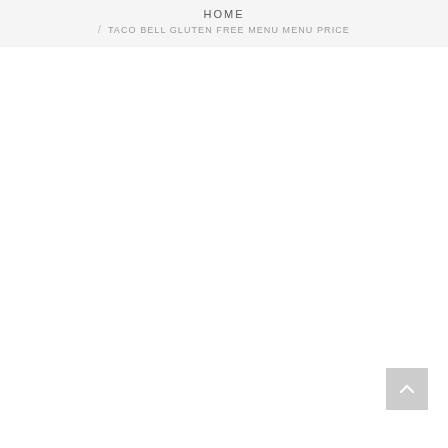HOME
/ TACO BELL GLUTEN FREE MENU MENU PRICE